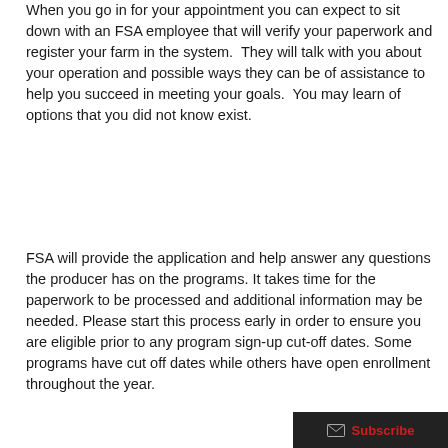When you go in for your appointment you can expect to sit down with an FSA employee that will verify your paperwork and register your farm in the system.  They will talk with you about your operation and possible ways they can be of assistance to help you succeed in meeting your goals.  You may learn of options that you did not know exist.
FSA will provide the application and help answer any questions the producer has on the programs. It takes time for the paperwork to be processed and additional information may be needed. Please start this process early in order to ensure you are eligible prior to any program sign-up cut-off dates. Some programs have cut off dates while others have open enrollment throughout the year.